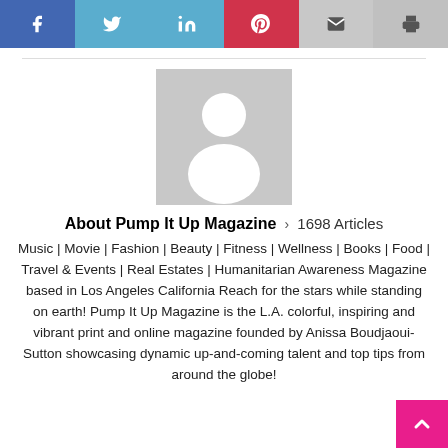[Figure (infographic): Social sharing bar with icons for Facebook, Twitter, LinkedIn, Pinterest, Email, and Print]
[Figure (photo): Generic grey placeholder avatar image with silhouette of a person]
About Pump It Up Magazine > 1698 Articles
Music | Movie | Fashion | Beauty | Fitness | Wellness | Books | Food | Travel & Events | Real Estates | Humanitarian Awareness Magazine based in Los Angeles California Reach for the stars while standing on earth! Pump It Up Magazine is the L.A. colorful, inspiring and vibrant print and online magazine founded by Anissa Boudjaoui-Sutton showcasing dynamic up-and-coming talent and top tips from around the globe!